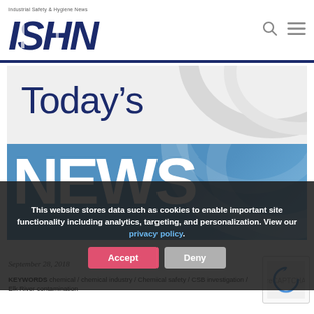Industrial Safety & Hygiene News — ISHN logo header
[Figure (illustration): Today's NEWS banner graphic with dark blue 'Today's' text on light background and white 'NEWS' text on blue lower band, with decorative arc shapes]
This website stores data such as cookies to enable important site functionality including analytics, targeting, and personalization. View our privacy policy.
September 28, 2018
KEYWORDS chemical / chemical industry / Chemical safety / CSB investigation / Elk River contamination